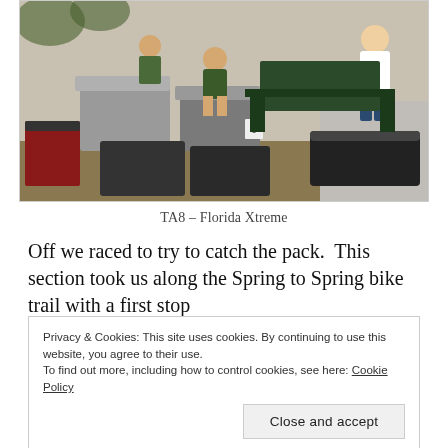[Figure (photo): Children in cycling gear sitting and standing around large plastic storage containers and equipment cases outdoors at what appears to be a race transition area.]
TA8 – Florida Xtreme
Off we raced to try to catch the pack.  This section took us along the Spring to Spring bike trail with a first stop
Privacy & Cookies: This site uses cookies. By continuing to use this website, you agree to their use.
To find out more, including how to control cookies, see here: Cookie Policy
Close and accept
through the next one...